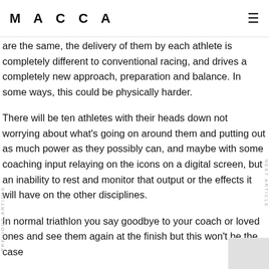MACCA
are the same, the delivery of them by each athlete is completely different to conventional racing, and drives a completely new approach, preparation and balance. In some ways, this could be physically harder.
There will be ten athletes with their heads down not worrying about what's going on around them and putting out as much power as they possibly can, and maybe with some coaching input relaying on the icons on a digital screen, but an inability to rest and monitor that output or the effects it will have on the other disciplines.
In normal triathlon you say goodbye to your coach or loved ones and see them again at the finish but this won't be the case with the...